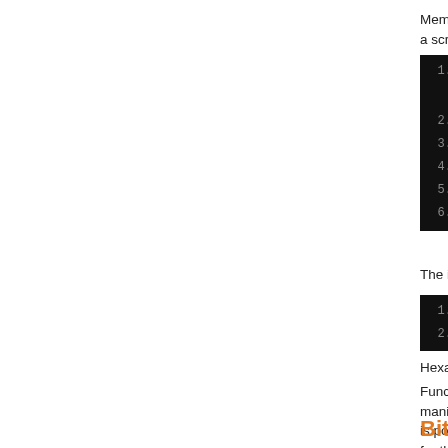Memory buffers cannot grow nor shrink. From a script standpoint, they are table of
[Figure (screenshot): Code editor showing memory buffer assignment with MemBuf, for loop, and inspect function in dark theme]
The inspect function will show a set
[Figure (screenshot): Code output showing MemBuf(5,2) [ 0000 0100 0200 0300 04...]
Hexadecimal 0100 value equals 256
Functions dealing with files may be... manipulation of binary data may be... is possible to access their content b... for that task.
Bitwise operators